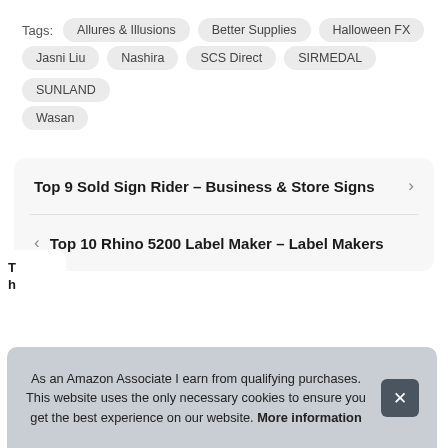Tags: Allures & Illusions  Better Supplies  Halloween FX  Jasni Liu  Nashira  SCS Direct  SIRMEDAL  SUNLAND  Wasan
Top 9 Sold Sign Rider – Business & Store Signs
Top 10 Rhino 5200 Label Maker – Label Makers
As an Amazon Associate I earn from qualifying purchases. This website uses the only necessary cookies to ensure you get the best experience on our website. More information